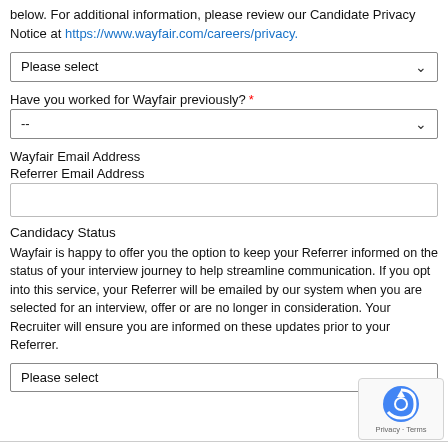below. For additional information, please review our Candidate Privacy Notice at https://www.wayfair.com/careers/privacy.
Please select (dropdown)
Have you worked for Wayfair previously? *
-- (dropdown)
Wayfair Email Address
Referrer Email Address
(text input field)
Candidacy Status
Wayfair is happy to offer you the option to keep your Referrer informed on the status of your interview journey to help streamline communication. If you opt into this service, your Referrer will be emailed by our system when you are selected for an interview, offer or are no longer in consideration. Your Recruiter will ensure you are informed on these updates prior to your Referrer.
Please select (dropdown)